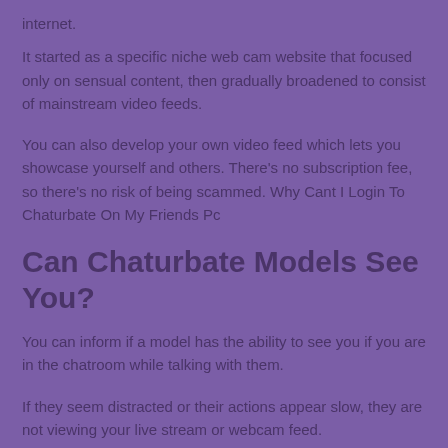internet.
It started as a specific niche web cam website that focused only on sensual content, then gradually broadened to consist of mainstream video feeds.
You can also develop your own video feed which lets you showcase yourself and others. There’s no subscription fee, so there’s no risk of being scammed. Why Cant I Login To Chaturbate On My Friends Pc
Can Chaturbate Models See You?
You can inform if a model has the ability to see you if you are in the chatroom while talking with them.
If they seem distracted or their actions appear slow, they are not viewing your live stream or webcam feed.